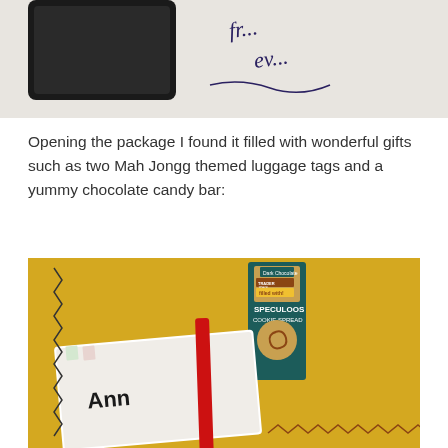[Figure (photo): Partial photo showing a black-framed label and handwritten cursive text reading 'fr... ev...' on white background]
Opening the package I found it filled with wonderful gifts such as two Mah Jongg themed luggage tags and a yummy chocolate candy bar:
[Figure (photo): Photo on yellow background showing a Trader Joe's Dark Chocolate bar filled with Speculoos Cookie Spread, and Mah Jongg themed luggage tags with red strap, one partially visible tag labeled 'Ann' and another below it]